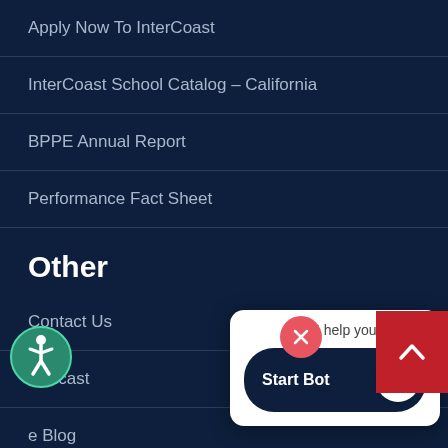Apply Now To InterCoast
InterCoast School Catalog – California
BPPE Annual Report
Performance Fact Sheet
Other
Contact Us
Podcast
e Blog
Editorial staff
[Figure (screenshot): Chat bot popup with close button (pink X), 'May I help you?' prompt text, and a dark navy 'Start Bot' button with a robot icon on the right side.]
[Figure (logo): Accessibility icon: circular green/teal icon with a white person silhouette.]
[Figure (other): Red scroll-to-top button with an upward caret arrow.]